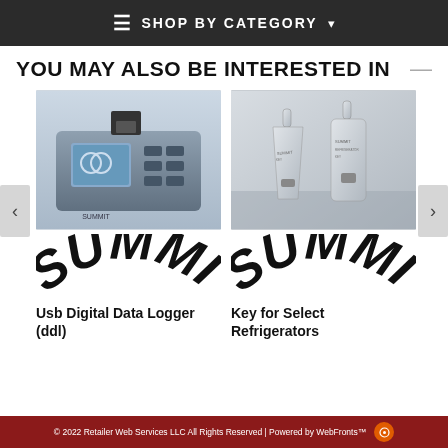≡ SHOP BY CATEGORY ▾
YOU MAY ALSO BE INTERESTED IN
[Figure (photo): USB Digital Data Logger device - a blue/grey electronic instrument with display screen and buttons]
[Figure (logo): SUMMIT brand logo in bold italic black arched text]
Usb Digital Data Logger (ddl)
[Figure (photo): Two metallic keys for select refrigerators on a silver surface]
[Figure (logo): SUMMIT brand logo in bold italic black arched text]
Key for Select Refrigerators
© 2022 Retailer Web Services LLC All Rights Reserved | Powered by WebFronts™